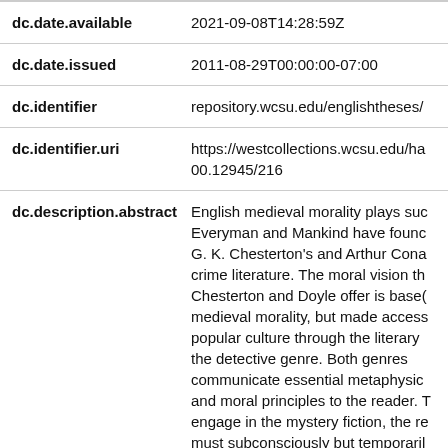| Field | Value |
| --- | --- |
| dc.date.available | 2021-09-08T14:28:59Z |
| dc.date.issued | 2011-08-29T00:00:00-07:00 |
| dc.identifier | repository.wcsu.edu/englishtheses/ |
| dc.identifier.uri | https://westcollections.wcsu.edu/ha
00.12945/216 |
| dc.description.abstract | English medieval morality plays suc
Everyman and Mankind have founc
G. K. Chesterton's and Arthur Cona
crime literature. The moral vision th
Chesterton and Doyle offer is base(
medieval morality, but made access
popular culture through the literary 
the detective genre. Both genres
communicate essential metaphysic
and moral principles to the reader. T
engage in the mystery fiction, the re
must subconsciously but temporaril
personal notions about morality anc |